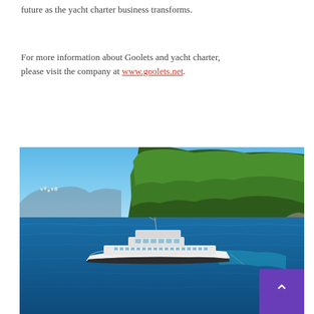future as the yacht charter business transforms.
For more information about Goolets and yacht charter, please visit the company at www.goolets.net.
[Figure (photo): Aerial view of a large white luxury yacht anchored near a rocky, forested coastline with deep blue Mediterranean waters and mountains visible in the background.]